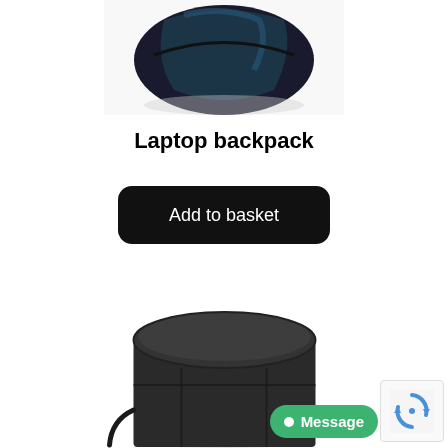[Figure (photo): Partial view of a dark laptop backpack with black and teal/dark blue fabric, photographed from above against a white background.]
Laptop backpack
[Figure (other): Black 'Add to basket' button with rounded corners on white background.]
[Figure (photo): A black cylindrical drum bag or lens case with a rounded top lid, shoulder strap visible, photographed against a white background.]
[Figure (other): Google reCAPTCHA badge in bottom right corner with recycling-arrow icon.]
[Figure (other): Green 'Message' chat button with white dot icon in bottom right area.]